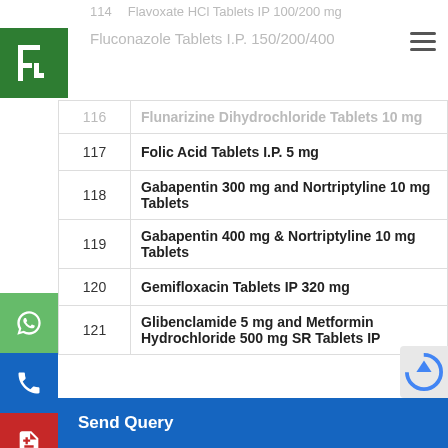114  Flavoxate HCl Tablets IP 100/200 mg
Fluconazole Tablets I.P. 150/200/400
| No. | Product |
| --- | --- |
| 116 | Flunarizine Dihydrochloride Tablets 10 mg |
| 117 | Folic Acid Tablets I.P. 5 mg |
| 118 | Gabapentin 300 mg and Nortriptyline 10 mg Tablets |
| 119 | Gabapentin 400 mg & Nortriptyline 10 mg Tablets |
| 120 | Gemifloxacin Tablets IP 320 mg |
| 121 | Glibenclamide 5 mg and Metformin Hydrochloride 500 mg SR Tablets IP |
Send Query